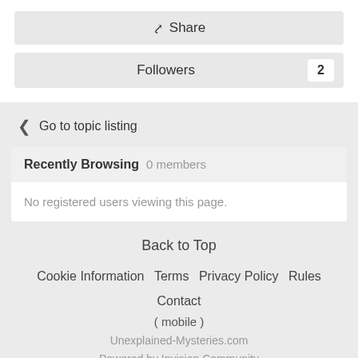Share
Followers  2
Go to topic listing
Recently Browsing  0 members
No registered users viewing this page.
Back to Top
Cookie Information  Terms  Privacy Policy  Rules  Contact  ( mobile )  Unexplained-Mysteries.com  Powered by Invision Community